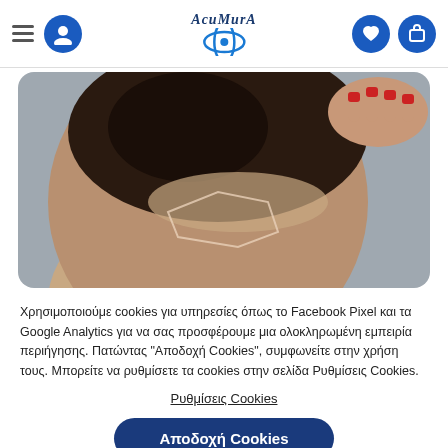AcuMurA navigation header with logo, menu icon, user icon, heart icon, cart icon
[Figure (photo): Close-up photo of a person's scalp/head from behind, showing hair parting with a geometric shaved or outlined pattern, hand with red nails touching head, gray background]
Χρησιμοποιούμε cookies για υπηρεσίες όπως το Facebook Pixel και τα Google Analytics για να σας προσφέρουμε μια ολοκληρωμένη εμπειρία περιήγησης. Πατώντας "Αποδοχή Cookies", συμφωνείτε στην χρήση τους. Μπορείτε να ρυθμίσετε τα cookies στην σελίδα Ρυθμίσεις Cookies.
Ρυθμίσεις Cookies
Αποδοχή Cookies